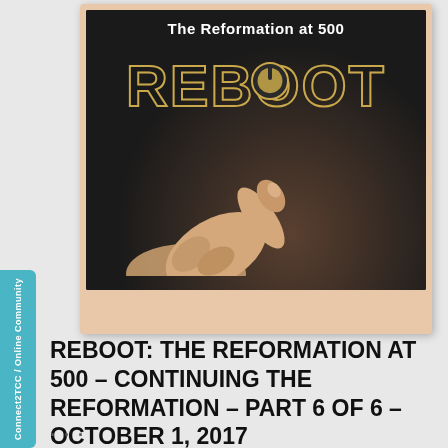[Figure (illustration): Polaroid-style photo showing a finger pressing a glowing power button, with text 'The Reformation at 500' and stylized gold 'REBOOT' lettering on a dark background]
REBOOT: THE REFORMATION AT 500 – CONTINUING THE REFORMATION – PART 6 OF 6 – OCTOBER 1, 2017
Connect2TCC / Online Community